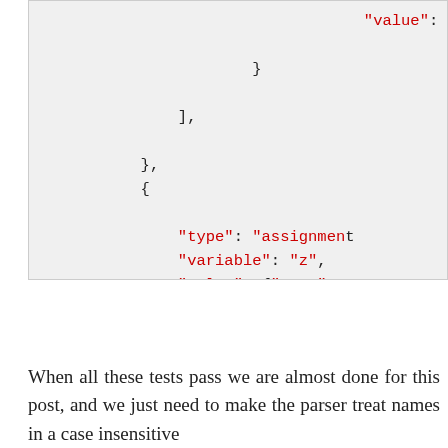[Figure (screenshot): Code snippet showing JSON-like structure with keys 'value', 'type', 'variable', 'value' in red monospace font on a light gray background. Partial content visible including closing braces, brackets, and nested object with 'type': 'assignment', 'variable': 'z', 'value': {'type': ...]
When all these tests pass we are almost done for this post, and we just need to make the parser treat names in a case insensitive